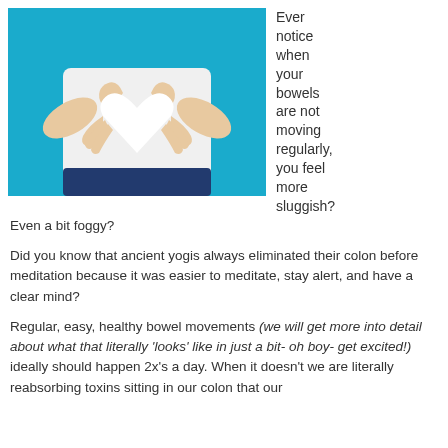[Figure (photo): Person in white top making a heart shape with hands over their stomach area, teal/blue background]
Ever notice when your bowels are not moving regularly, you feel more sluggish?
Even a bit foggy?
Did you know that ancient yogis always eliminated their colon before meditation because it was easier to meditate, stay alert, and have a clear mind?
Regular, easy, healthy bowel movements (we will get more into detail about what that literally 'looks' like in just a bit- oh boy- get excited!) ideally should happen 2x's a day. When it doesn't we are literally reabsorbing toxins sitting in our colon that our